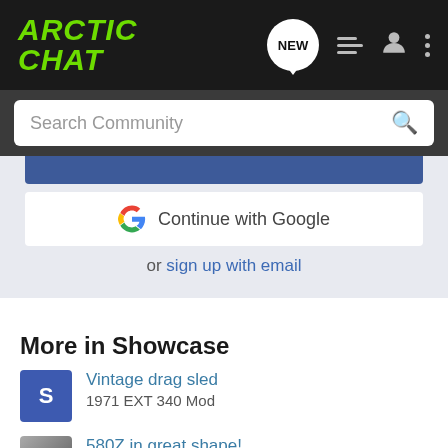ARCTIC CHAT
Search Community
Continue with Google
or sign up with email
More in Showcase
Vintage drag sled
1971 EXT 340 Mod
580Z in great shape!
Has original OEM cover.
Mountain Cat 144 Build